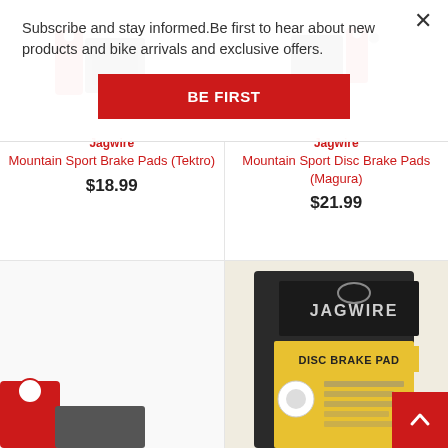Subscribe and stay informed.Be first to hear about new products and bike arrivals and exclusive offers.
[Figure (other): Red 'BE FIRST' button for newsletter subscription]
[Figure (photo): Jagwire Mountain Sport Brake Pads (Tektro) product image showing red and dark brake pad components]
Jagwire Mountain Sport Brake Pads (Tektro)
$18.99
[Figure (photo): Jagwire Mountain Sport Disc Brake Pads (Magura) product image showing brake pad components]
Jagwire Mountain Sport Disc Brake Pads (Magura)
$21.99
[Figure (photo): Bottom row product images - left shows partial red brake component, right shows Jagwire Disc Brake Pad packaging (gold/yellow box with Jagwire logo)]